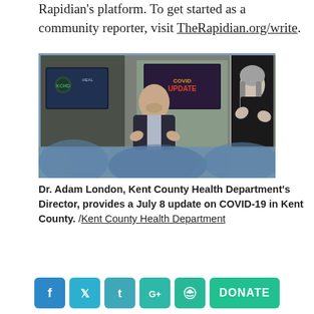Rapidian's platform. To get started as a community reporter, visit TheRapidian.org/write.
[Figure (photo): Split-screen image: left panel shows a man in a suit speaking in a studio with a TV screen showing 'COVID UPDATE' behind him; right panel shows a woman in black performing sign language against a dark background.]
Dr. Adam London, Kent County Health Department's Director, provides a July 8 update on COVID-19 in Kent County. /Kent County Health Department
Social share buttons: Facebook, Twitter, Tumblr, Google+, Reddit, and DONATE button